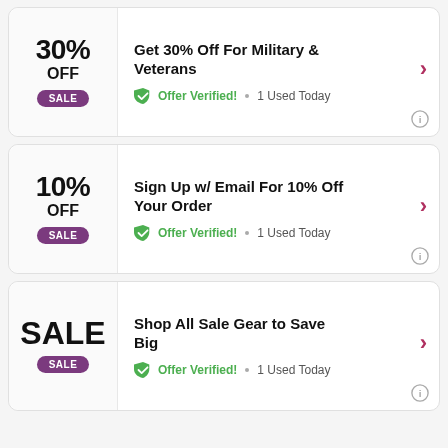30% OFF SALE - Get 30% Off For Military & Veterans - Offer Verified! 1 Used Today
10% OFF SALE - Sign Up w/ Email For 10% Off Your Order - Offer Verified! 1 Used Today
SALE - Shop All Sale Gear to Save Big - Offer Verified! 1 Used Today